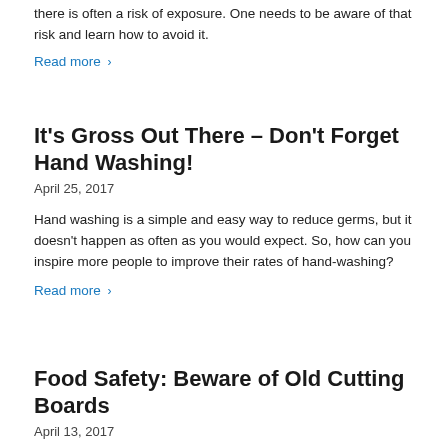there is often a risk of exposure. One needs to be aware of that risk and learn how to avoid it.
Read more ›
It's Gross Out There – Don't Forget Hand Washing!
April 25, 2017
Hand washing is a simple and easy way to reduce germs, but it doesn't happen as often as you would expect. So, how can you inspire more people to improve their rates of hand-washing?
Read more ›
Food Safety: Beware of Old Cutting Boards
April 13, 2017